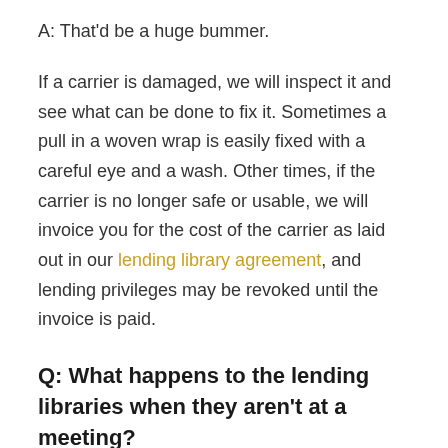A: That'd be a huge bummer.
If a carrier is damaged, we will inspect it and see what can be done to fix it. Sometimes a pull in a woven wrap is easily fixed with a careful eye and a wash. Other times, if the carrier is no longer safe or usable, we will invoice you for the cost of the carrier as laid out in our lending library agreement, and lending privileges may be revoked until the invoice is paid.
Q: What happens to the lending libraries when they aren't at a meeting?